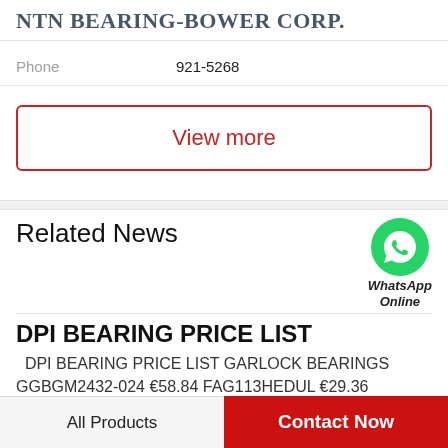NTN BEARING-BOWER CORP.
Phone   921-5268
View more
Related News
[Figure (logo): WhatsApp green circle icon with phone handset, labeled 'WhatsApp Online']
DPI BEARING PRICE LIST
DPI BEARING PRICE LIST GARLOCK BEARINGS GGBGM2432-024 €58.84 FAG113HEDUL €29.36 GARLOCK BEARINGS GGBGM2432-032 €16.93 FAG110HEDUH €158.76 GARLOCK BEARINGS GGBGM2630-020 €140.09 FAG113HCDUH €160.93 GARLOCK...
All Products   Contact Now